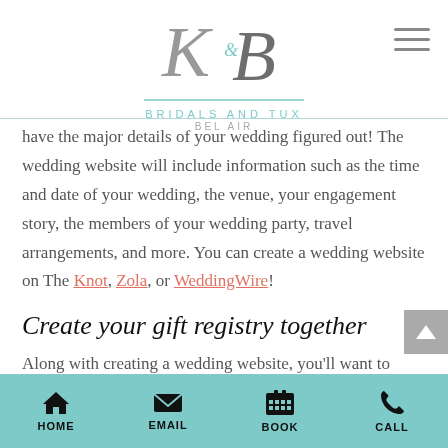[Figure (logo): KB Bridals and Tux Bel Air logo with decorative script K&B monogram]
have the major details of your wedding figured out! The wedding website will include information such as the time and date of your wedding, the venue, your engagement story, the members of your wedding party, travel arrangements, and more. You can create a wedding website on The Knot, Zola, or WeddingWire!
Create your gift registry together
Along with creating a wedding website, you'll want to create a gift registry. But if you don't want gifts, or you'd rather have money, many suggest you crea…
HOME | EMAIL | BOOK | CALL